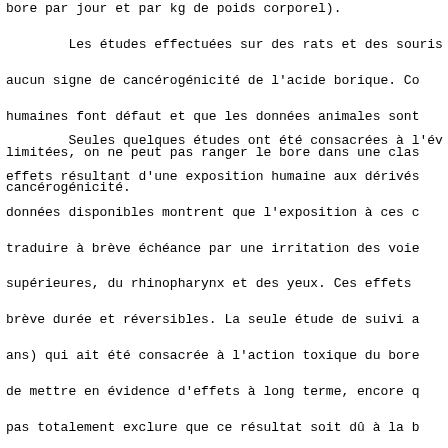bore par jour et par kg de poids corporel).
Les études effectuées sur des rats et des souris aucun signe de cancérogénicité de l'acide borique. Co humaines font défaut et que les données animales sont limitées, on ne peut pas ranger le bore dans une clas cancérogénicité.
Seules quelques études ont été consacrées à l'év effets résultant d'une exposition humaine aux dérivés données disponibles montrent que l'exposition à ces c traduire à brève échéance par une irritation des voie supérieures, du rhinopharynx et des yeux. Ces effets brève durée et réversibles. La seule étude de suivi a ans) qui ait été consacrée à l'action toxique du bore de mettre en évidence d'effets à long terme, encore q pas totalement exclure que ce résultat soit dû à la b travailleurs étudiés, compte tenu du taux élevé d'att études descriptives ont porté sur la fécondité et le secondaire en rapport avec une exposition. Aucune des révélé d'effet indésirable sur la fécondité observée l'échantillon. Il y aurait bien eu un excès de naissa mais il n'était pas statistiquement significatif et i existait d'autres facteurs connus pour influer sur le incite à une interprétation prudente de ce résultat. retrouvé d'études portant sur l'ensemble des paramètr reproduction, par exemple le temps écoulé jusqu'à la retards dans la conception, les avortements spontanés comportement des spermatozoïdes. Il faut étudier plus autres styles de vie et facteurs comportementaux dans avec le santé et la fécondité afin de mettre en évide